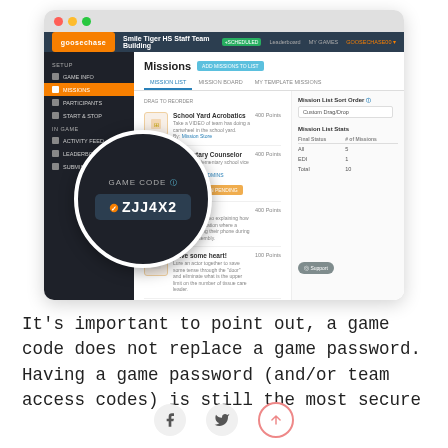[Figure (screenshot): Screenshot of the GooseChase app showing the Missions management screen with a circular overlay highlighting the Game Code 'ZJJ4X2'. The interface shows a dark sidebar with navigation items, a missions list with items like 'School Yard Acrobatics', 'Elementary Counselor', 'Phones Off', and 'Save some heart!', and a right panel showing Mission List Sort Order and Mission List Stats. The game code overlay circle shows 'GAME CODE' label and the code value 'ZJJ4X2'.]
It's important to point out, a game code does not replace a game password. Having a game password (and/or team access codes) is still the most secure